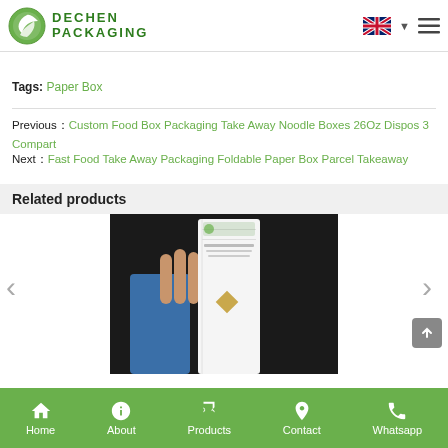DECHEN PACKAGING
Tags: Paper Box
Previous：Custom Food Box Packaging Take Away Noodle Boxes 26Oz Dispos 3 Compart
Next：Fast Food Take Away Packaging Foldable Paper Box Parcel Takeaway
Related products
[Figure (photo): Product image of a paper box packaging item held in hand against dark background, with Dechen Packaging logo watermark]
Home   About   Products   Contact   Whatsapp